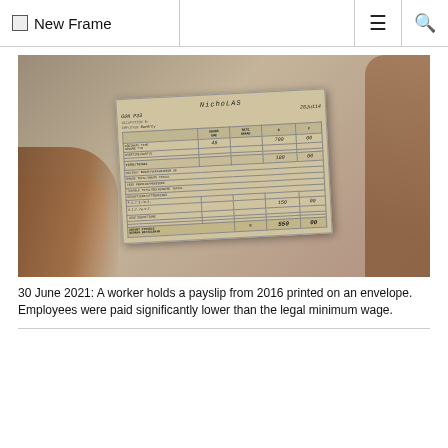New Frame
[Figure (photo): A worker's hands holding a payslip from 2016 printed on an envelope. The payslip shows handwritten name 'Nicholas', pay number 'G6N P33', week ending '28 Jul 14', occupation 'D-', employer 'Bav8rCy'. The payslip has a printed grid with rows for Ordinary Time/Gewone Pay, Overtime/Oortyd, Totals showing 700.00 and 550.00 as amount payable. Various deductions rows visible.]
30 June 2021: A worker holds a payslip from 2016 printed on an envelope. Employees were paid significantly lower than the legal minimum wage.